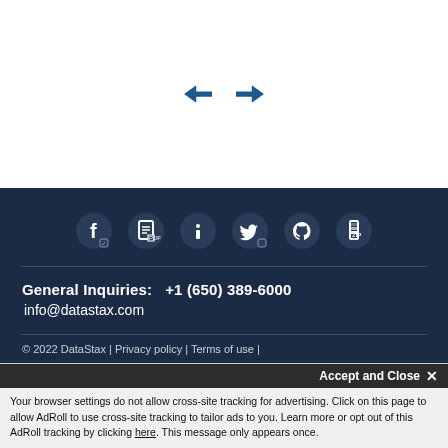[Figure (other): Navigation arrows: left arrow and right arrow in dark blue]
[Figure (other): Footer social media icons: Facebook, PDF/document, info, Twitter, GitHub, archive/zip file icons in dark navy background]
General Inquiries:   +1 (650) 389-6000
info@datastax.com
© 2022 DataStax | Privacy policy | Terms of use |
Accept and Close ✕
Your browser settings do not allow cross-site tracking for advertising. Click on this page to allow AdRoll to use cross-site tracking to tailor ads to you. Learn more or opt out of this AdRoll tracking by clicking here. This message only appears once.